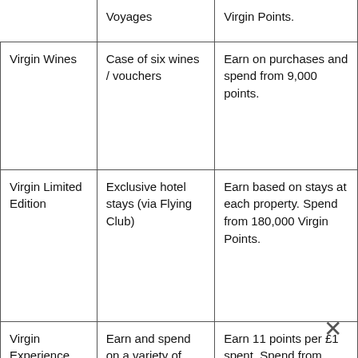|  | Voyages | Virgin Points. |
| Virgin Wines | Case of six wines / vouchers | Earn on purchases and spend from 9,000 points. |
| Virgin Limited Edition | Exclusive hotel stays (via Flying Club) | Earn based on stays at each property. Spend from 180,000 Virgin Points. |
| Virgin Experience Days | Earn and spend on a variety of different experiences | Earn 11 points per £1 spent. Spend from 5,250 Virgin Points. |
|  |  | Spend from 3,000 |